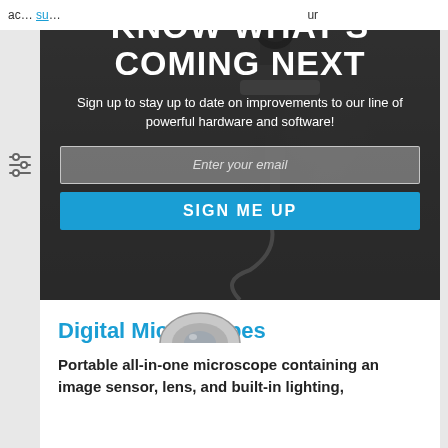ac... our su...
[Figure (screenshot): Screenshot of a website showing a microscope promotional banner with dark overlay. Features heading 'KNOW WHAT'S COMING NEXT', subtitle text about signing up, an email input field, and a 'SIGN ME UP' button. Left sidebar shows a filter/settings icon.]
KNOW WHAT'S COMING NEXT
Sign up to stay up to date on improvements to our line of powerful hardware and software!
Enter your email
SIGN ME UP
Digital Microscopes
Portable all-in-one microscope containing an image sensor, lens, and built-in lighting,